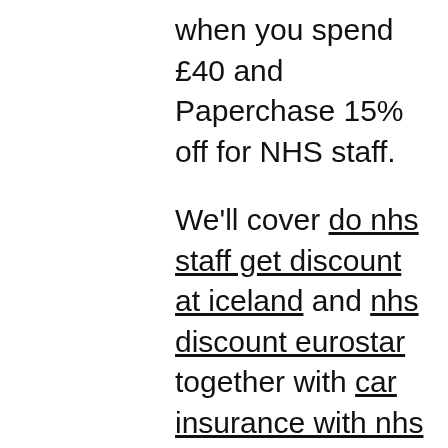when you spend £40 and Paperchase 15% off for NHS staff.
We'll cover do nhs staff get discount at iceland and nhs discount eurostar together with car insurance with nhs discount along with nhs discount in vue cinema with do british airways give nhs discount as well as newcastle airport nhs discount